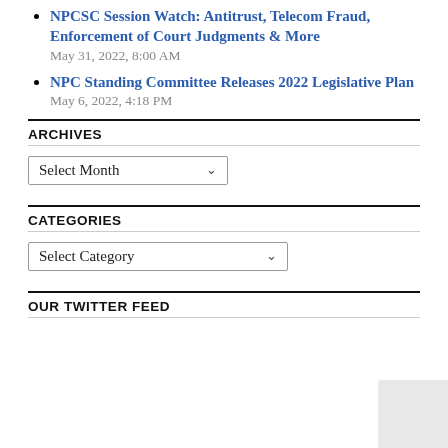NPCSC Session Watch: Antitrust, Telecom Fraud, Enforcement of Court Judgments & More
May 31, 2022, 8:00 AM
NPC Standing Committee Releases 2022 Legislative Plan
May 6, 2022, 4:18 PM
ARCHIVES
[Figure (screenshot): Select Month dropdown widget]
CATEGORIES
[Figure (screenshot): Select Category dropdown widget]
OUR TWITTER FEED